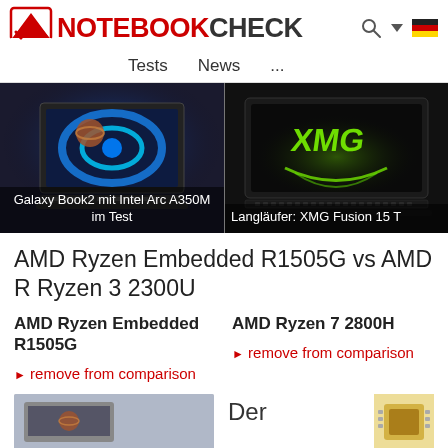NOTEBOOKCHECK
Tests   News   ...
[Figure (photo): Two laptop product promotion images side by side: left shows Samsung Galaxy Book2 with Intel Arc A350M, right shows XMG Fusion 15 gaming laptop with glowing XMG logo]
Galaxy Book2 mit Intel Arc A350M im Test
Langläufer: XMG Fusion 15 T
AMD Ryzen Embedded R1505G vs AMD R Ryzen 3 2300U
AMD Ryzen Embedded R1505G
► remove from comparison
AMD Ryzen 7 2800H
► remove from comparison
Der